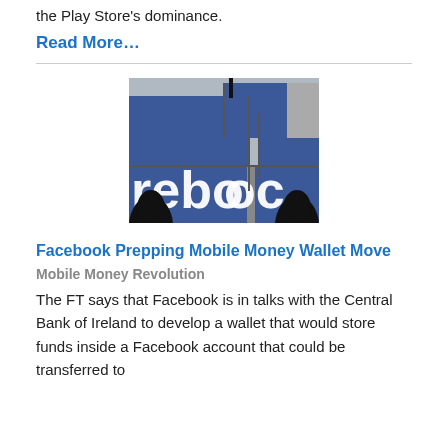the Play Store's dominance.
Read More…
[Figure (photo): Facebook logo billboard photo showing blue screens with partial 'faceboo' text visible, with silhouettes of people in the foreground.]
Facebook Prepping Mobile Money Wallet Move
Mobile Money Revolution
The FT says that Facebook is in talks with the Central Bank of Ireland to develop a wallet that would store funds inside a Facebook account that could be transferred to